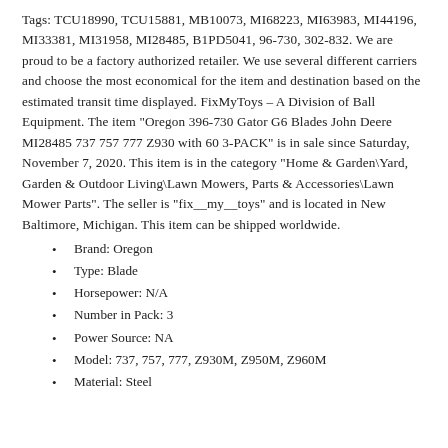Tags: TCU18990, TCU15881, MB10073, MI68223, MI63983, MI44196, MI33381, MI31958, MI28485, B1PD5041, 96-730, 302-832. We are proud to be a factory authorized retailer. We use several different carriers and choose the most economical for the item and destination based on the estimated transit time displayed. FixMyToys – A Division of Ball Equipment. The item "Oregon 396-730 Gator G6 Blades John Deere MI28485 737 757 777 Z930 with 60 3-PACK" is in sale since Saturday, November 7, 2020. This item is in the category "Home & Garden\Yard, Garden & Outdoor Living\Lawn Mowers, Parts & Accessories\Lawn Mower Parts". The seller is "fix__my__toys" and is located in New Baltimore, Michigan. This item can be shipped worldwide.
Brand: Oregon
Type: Blade
Horsepower: N/A
Number in Pack: 3
Power Source: NA
Model: 737, 757, 777, Z930M, Z950M, Z960M
Material: Steel